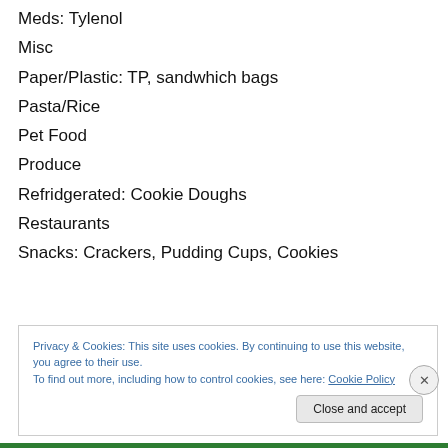Meds: Tylenol
Misc
Paper/Plastic: TP, sandwhich bags
Pasta/Rice
Pet Food
Produce
Refridgerated: Cookie Doughs
Restaurants
Snacks: Crackers, Pudding Cups, Cookies
Privacy & Cookies: This site uses cookies. By continuing to use this website, you agree to their use.
To find out more, including how to control cookies, see here: Cookie Policy
Close and accept